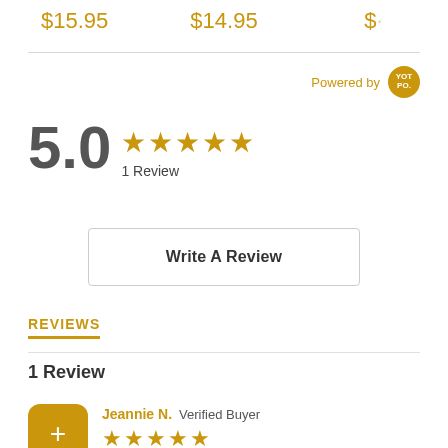$15.95    $14.95    $·
Powered by YOTPO
5.0 ★★★★★ 1 Review
Write A Review
REVIEWS
1 Review
Jeannie N. Verified Buyer ★★★★★ Posole comfort food For a New Mexican like me this Pork and